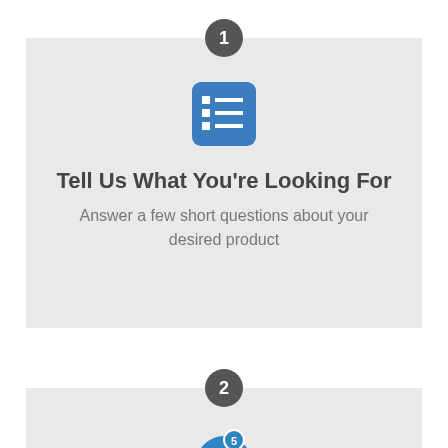[Figure (infographic): Step 1 badge: dark gray circle with number 1 in white]
[Figure (illustration): Blue rounded-rectangle icon with a checklist/list graphic in white]
Tell Us What You're Looking For
Answer a few short questions about your desired product
[Figure (infographic): Step 2 badge: dark gray circle with number 2 in white]
[Figure (illustration): Blue circle icon with a dollar sign and a small circle with number 5 on top]
Receive FREE price quotes